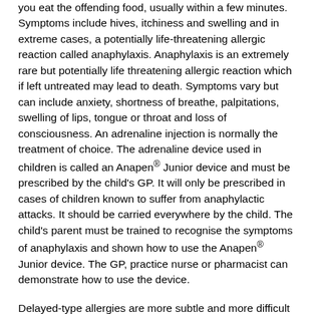you eat the offending food, usually within a few minutes. Symptoms include hives, itchiness and swelling and in extreme cases, a potentially life-threatening allergic reaction called anaphylaxis. Anaphylaxis is an extremely rare but potentially life threatening allergic reaction which if left untreated may lead to death. Symptoms vary but can include anxiety, shortness of breathe, palpitations, swelling of lips, tongue or throat and loss of consciousness. An adrenaline injection is normally the treatment of choice. The adrenaline device used in children is called an Anapen® Junior device and must be prescribed by the child's GP. It will only be prescribed in cases of children known to suffer from anaphylactic attacks. It should be carried everywhere by the child. The child's parent must be trained to recognise the symptoms of anaphylaxis and shown how to use the Anapen® Junior device. The GP, practice nurse or pharmacist can demonstrate how to use the device.
Delayed-type allergies are more subtle and more difficult to detect. This is because it is the chronic build-up of a particular food that causes the allergic reaction. In young children, the most common delayed type of food allergy is to milk protein, which causes chronic symptoms such as eczema, colic, reflux and